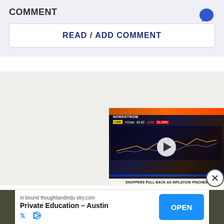COMMENT
READ / ADD COMMENT
[Figure (screenshot): Video thumbnail showing NORDSTROM stock chart with play button, ticker data (43.92, -4.56, 51.09%), and caption 'SHOPPERS PULL BACK AS INFLATION PINCHES']
SHOPPERS PULL BACK AS INFLATION PINCHES
inboundthoughtandindustry.com Private Education - Austin OPEN